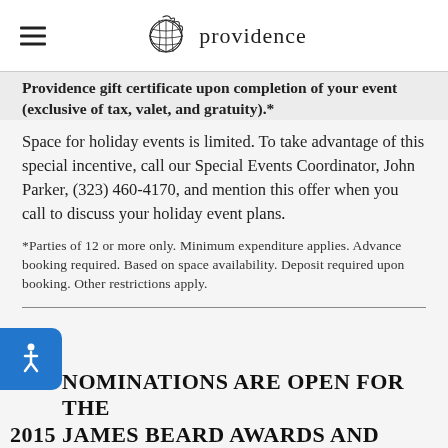providence
Providence gift certificate upon completion of your event (exclusive of tax, valet, and gratuity).*
Space for holiday events is limited. To take advantage of this special incentive, call our Special Events Coordinator, John Parker, (323) 460-4170, and mention this offer when you call to discuss your holiday event plans.
*Parties of 12 or more only. Minimum expenditure applies. Advance booking required. Based on space availability. Deposit required upon booking. Other restrictions apply.
NOMINATIONS ARE OPEN FOR THE 2015 JAMES BEARD AWARDS AND